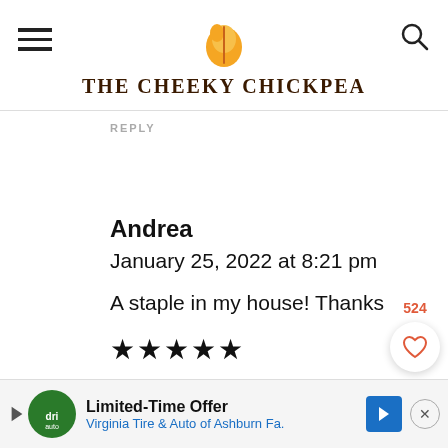The Cheeky Chickpea
REPLY
Andrea
January 25, 2022 at 8:21 pm
A staple in my house! Thanks
★★★★★
REPLY
[Figure (infographic): Advertisement banner: Limited-Time Offer Virginia Tire & Auto of Ashburn Fa.]